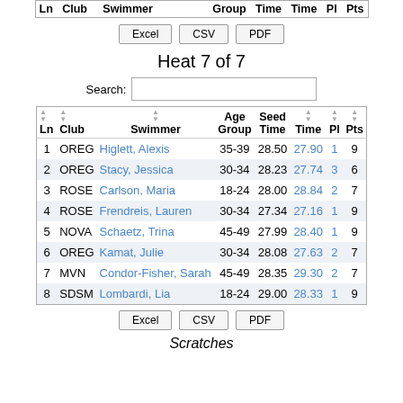| Ln | Club | Swimmer | Age Group | Seed Time | Time | Pl | Pts |
| --- | --- | --- | --- | --- | --- | --- | --- |
Excel  CSV  PDF
Heat 7 of 7
Search:
| Ln | Club | Swimmer | Age Group | Seed Time | Time | Pl | Pts |
| --- | --- | --- | --- | --- | --- | --- | --- |
| 1 | OREG | Higlett, Alexis | 35-39 | 28.50 | 27.90 | 1 | 9 |
| 2 | OREG | Stacy, Jessica | 30-34 | 28.23 | 27.74 | 3 | 6 |
| 3 | ROSE | Carlson, Maria | 18-24 | 28.00 | 28.84 | 2 | 7 |
| 4 | ROSE | Frendreis, Lauren | 30-34 | 27.34 | 27.16 | 1 | 9 |
| 5 | NOVA | Schaetz, Trina | 45-49 | 27.99 | 28.40 | 1 | 9 |
| 6 | OREG | Kamat, Julie | 30-34 | 28.08 | 27.63 | 2 | 7 |
| 7 | MVN | Condor-Fisher, Sarah | 45-49 | 28.35 | 29.30 | 2 | 7 |
| 8 | SDSM | Lombardi, Lia | 18-24 | 29.00 | 28.33 | 1 | 9 |
Excel  CSV  PDF
Scratches